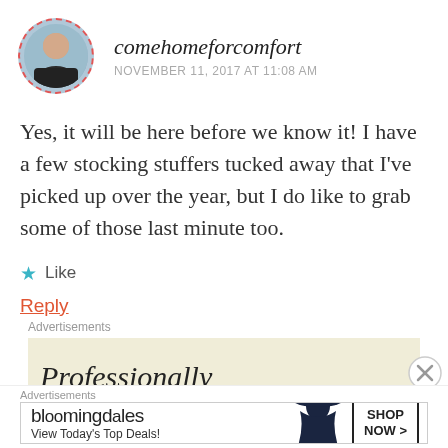comehomeforcomfort
NOVEMBER 11, 2017 AT 11:08 AM
Yes, it will be here before we know it! I have a few stocking stuffers tucked away that I've picked up over the year, but I do like to grab some of those last minute too.
★ Like
Reply
Advertisements
Professionally
Advertisements
bloomingdales
View Today's Top Deals!
SHOP NOW >